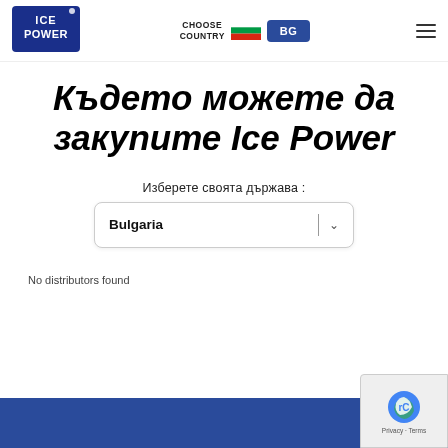ICE POWER logo | CHOOSE COUNTRY | BG flag | BG button | hamburger menu
Където можете да закупите Ice Power
Изберете своята държава :
Bulgaria
No distributors found